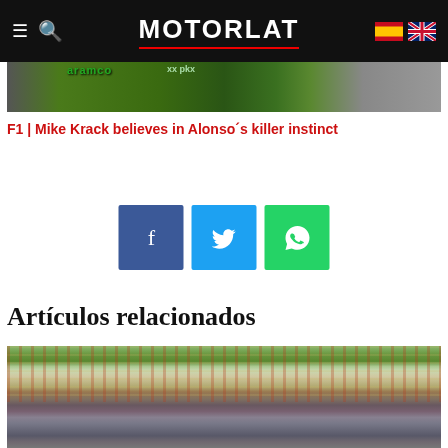MOTORLAT
[Figure (photo): Partial view of a Formula 1 car on track with sponsor logos including Aramco and PKK visible]
F1 | Mike Krack believes in Alonso´s killer instinct
[Figure (infographic): Social share buttons: Facebook (blue), Twitter (light blue), WhatsApp (green)]
Artículos relacionados
[Figure (photo): Formula 1 grandstand packed with spectators at a race circuit, trees visible in background with metal structures]